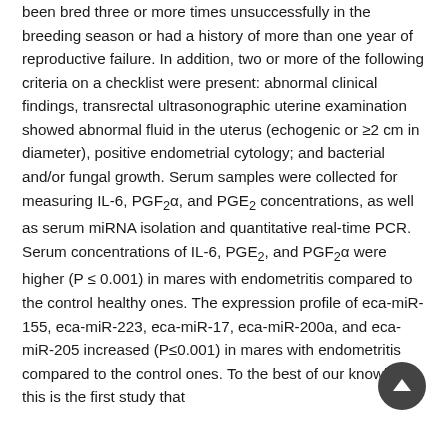been bred three or more times unsuccessfully in the breeding season or had a history of more than one year of reproductive failure. In addition, two or more of the following criteria on a checklist were present: abnormal clinical findings, transrectal ultrasonographic uterine examination showed abnormal fluid in the uterus (echogenic or ≥2 cm in diameter), positive endometrial cytology; and bacterial and/or fungal growth. Serum samples were collected for measuring IL-6, PGF2α, and PGE2 concentrations, as well as serum miRNA isolation and quantitative real-time PCR. Serum concentrations of IL-6, PGE2, and PGF2α were higher (P ≤ 0.001) in mares with endometritis compared to the control healthy ones. The expression profile of eca-miR-155, eca-miR-223, eca-miR-17, eca-miR-200a, and eca-miR-205 increased (P≤0.001) in mares with endometritis compared to the control ones. To the best of our knowledge, this is the first study that